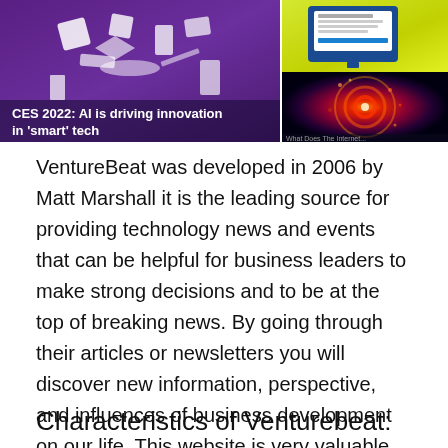[Figure (screenshot): Screenshot of VentureBeat website showing two article thumbnails. Left: purple background with 3D white tech objects, caption 'CES 2022: AI is driving innovation in smart tech'. Right top: yellow background with monitor graphic, caption '30 startups that show how open source ate the world in 2021'. Right bottom: colorful cosmic/neural image.]
VentureBeat was developed in 2006 by Matt Marshall it is the leading source for providing technology news and events that can be helpful for business leaders to make strong decisions and to be at the top of breaking news. By going through their articles or newsletters you will discover new information, perspective, and influences of business development on our life. This website is very valuable for businesspersons.
Characteristics of Venturebeat: